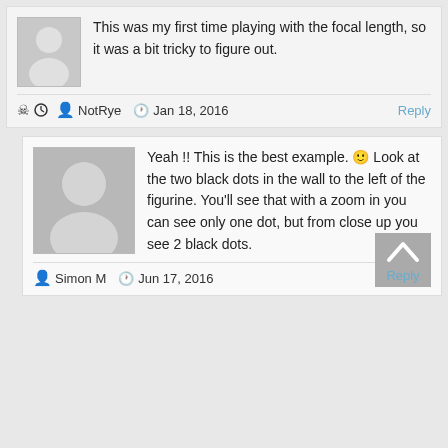This was my first time playing with the focal length, so it was a bit tricky to figure out.
NotRye  Jan 18, 2016
Reply
Yeah !! This is the best example. 🙂 Look at the two black dots in the wall to the left of the figurine. You'll see that with a zoom in you can see only one dot, but from close up you see 2 black dots.
Simon M  Jun 17, 2016
Reply